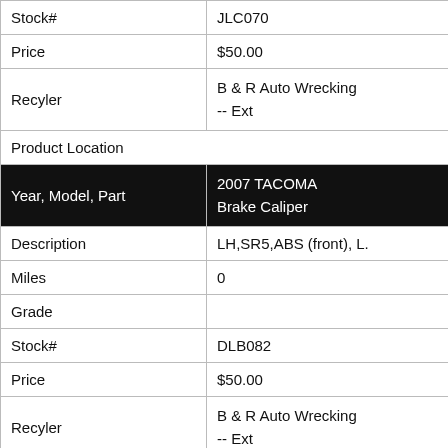| Field | Value |
| --- | --- |
| Stock# | JLC070 |
| Price | $50.00 |
| Recyler | B & R Auto Wrecking
-- Ext |
| Product Location |  |
| Year, Model, Part | 2007 TACOMA
Brake Caliper |
| Description | LH,SR5,ABS (front), L. |
| Miles | 0 |
| Grade |  |
| Stock# | DLB082 |
| Price | $50.00 |
| Recyler | B & R Auto Wrecking
-- Ext |
| Product Location |  |
| Year, Model, Part | 2013 TACOMA
Brake Caliper |